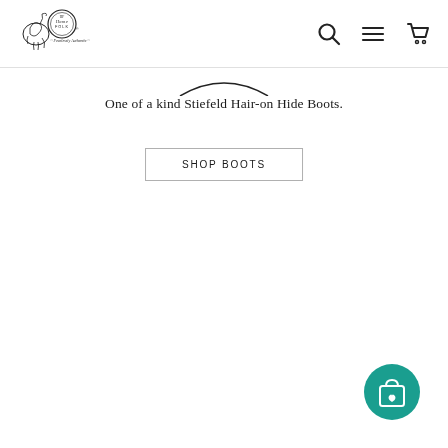Home Folk — Fearlessly Authentic
One of a kind Stiefeld Hair-on Hide Boots.
SHOP BOOTS